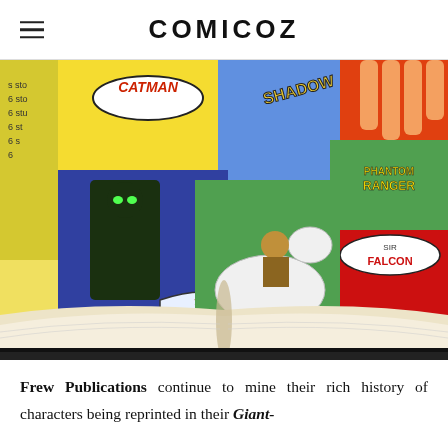COMICOZ
[Figure (illustration): Comic book illustration showing an open book with various golden-age comic book heroes leaping from the pages: Catman, Shadow, Phantom Ranger, Sir Falcon, The Raven, and a cowboy on a white horse.]
Frew Publications continue to mine their rich history of characters being reprinted in their Giant-